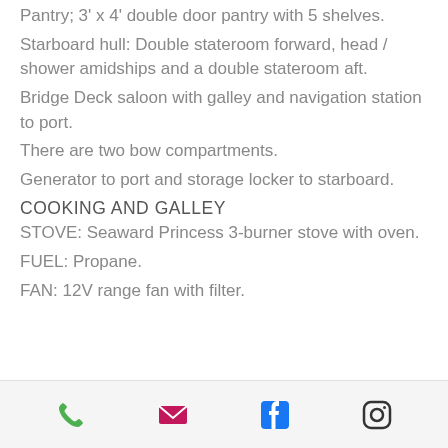Pantry; 3' x 4' double door pantry with 5 shelves.
Starboard hull: Double stateroom forward, head / shower amidships and a double stateroom aft.
Bridge Deck saloon with galley and navigation station to port.
There are two bow compartments.
Generator to port and storage locker to starboard.
COOKING AND GALLEY
STOVE: Seaward Princess 3-burner stove with oven.
FUEL: Propane.
FAN: 12V range fan with filter.
Phone | Email | Facebook | Instagram